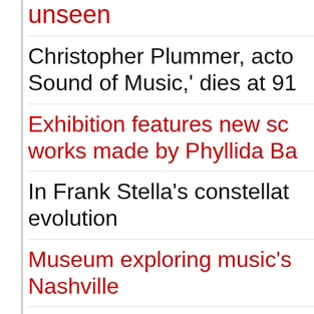unseen
Christopher Plummer, actor known for 'Sound of Music,' dies at 91
Exhibition features new sculptures and works made by Phyllida Barlow
In Frank Stella's constellation of evolution
Museum exploring music's Nashville
'Wayne Thiebaud 100: Pa...